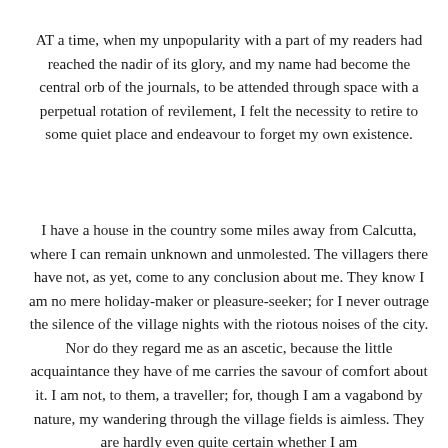AT a time, when my unpopularity with a part of my readers had reached the nadir of its glory, and my name had become the central orb of the journals, to be attended through space with a perpetual rotation of revilement, I felt the necessity to retire to some quiet place and endeavour to forget my own existence.
I have a house in the country some miles away from Calcutta, where I can remain unknown and unmolested. The villagers there have not, as yet, come to any conclusion about me. They know I am no mere holiday-maker or pleasure-seeker; for I never outrage the silence of the village nights with the riotous noises of the city. Nor do they regard me as an ascetic, because the little acquaintance they have of me carries the savour of comfort about it. I am not, to them, a traveller; for, though I am a vagabond by nature, my wandering through the village fields is aimless. They are hardly even quite certain whether I am